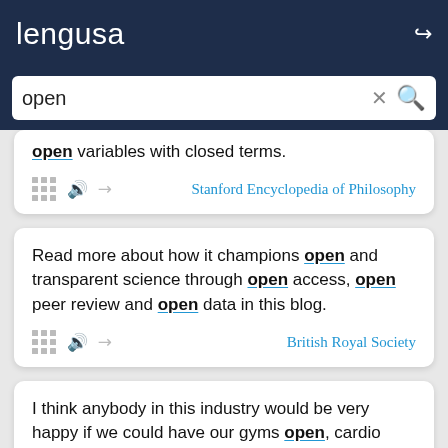lengusa
open variables with closed terms.
Stanford Encyclopedia of Philosophy
Read more about how it champions open and transparent science through open access, open peer review and open data in this blog.
British Royal Society
I think anybody in this industry would be very happy if we could have our gyms open, cardio open, strength open, classrooms open at 50%, people abiding by the